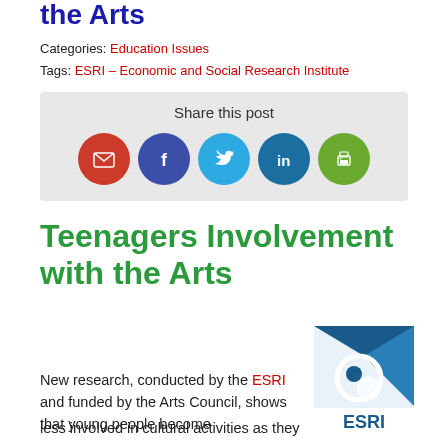the Arts
Categories: Education Issues
Tags: ESRI – Economic and Social Research Institute
Share this post
[Figure (infographic): Social sharing icons: email (red/orange circle), Facebook (dark blue circle), Twitter (light blue circle), LinkedIn (blue circle), Print (green circle)]
Teenagers Involvement with the Arts
[Figure (logo): ESRI – Economic and Social Research Institute logo]
New research, conducted by the ESRI and funded by the Arts Council, shows that young people become less involved in cultural activities as they